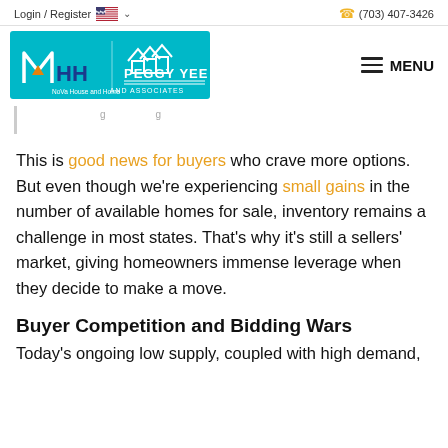Login / Register  (703) 407-3426
[Figure (logo): NoVa House and Home / Peggy Yee and Associates logo on teal background]
This is good news for buyers who crave more options. But even though we're experiencing small gains in the number of available homes for sale, inventory remains a challenge in most states. That's why it's still a sellers' market, giving homeowners immense leverage when they decide to make a move.
Buyer Competition and Bidding Wars
Today's ongoing low supply, coupled with high demand,